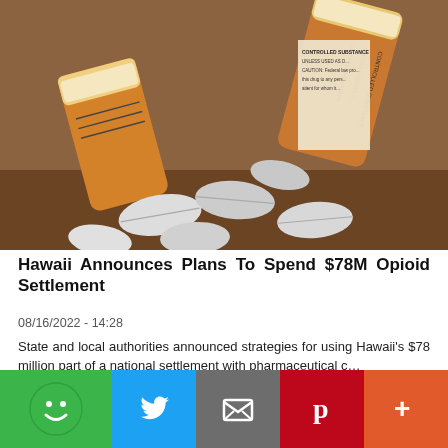[Figure (photo): Close-up photo of prescription pill bottles on their sides with white pills/tablets scattered around them. Orange prescription bottle with white label visible showing 'CONTROLLED SUBSTANCE' and 'CAUTION' warnings.]
Hawaii Announces Plans To Spend $78M Opioid Settlement
08/16/2022 - 14:28
State and local authorities announced strategies for using Hawaii's $78 million part of a national settlement with pharmaceutical c…
Learn More
We use cookies on this site to enhance your user experience
By clicking the Accept button, you agree to us doing so. More info
Accept
No, thanks